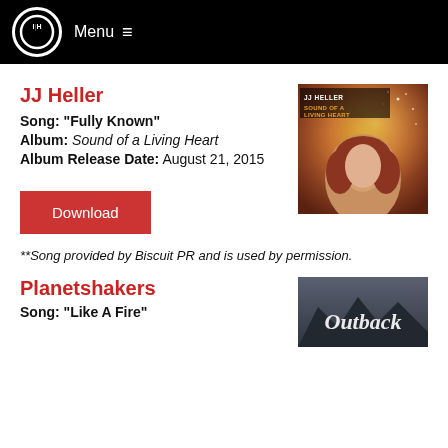IH Menu
JJ Heller
Song: "Fully Known"
Album: Sound of a Living Heart
Album Release Date: August 21, 2015
[Figure (photo): Album cover for JJ Heller - Sound of a Living Heart, showing a woman with red hair lying back with a golden sparkly background and album title text overlay]
Download
**Song provided by Biscuit PR and is used by permission.
Planetshakers
Song: "Like A Fire"
[Figure (photo): Album cover partially visible showing Outback text in white script on a dark grey/blue background]